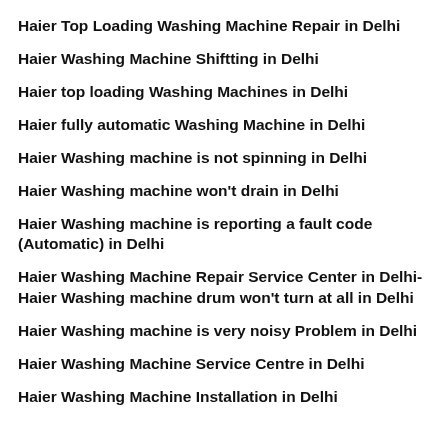Haier Top Loading Washing Machine Repair in Delhi
Haier Washing Machine Shiftting in Delhi
Haier top loading Washing Machines in Delhi
Haier fully automatic Washing Machine in Delhi
Haier Washing machine is not spinning in Delhi
Haier Washing machine won't drain in Delhi
Haier Washing machine is reporting a fault code (Automatic) in Delhi
Haier Washing Machine Repair Service Center in Delhi-Haier Washing machine drum won't turn at all in Delhi
Haier Washing machine is very noisy Problem in Delhi
Haier Washing Machine Service Centre in Delhi
Haier Washing Machine Installation in Delhi